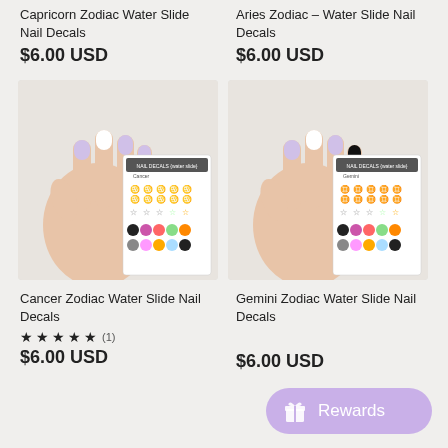Capricorn Zodiac Water Slide Nail Decals
$6.00 USD
Aries Zodiac – Water Slide Nail Decals
$6.00 USD
[Figure (photo): Cancer Zodiac Water Slide Nail Decals product photo showing a hand with painted nails next to a sheet of colorful cancer zodiac symbol nail decals]
[Figure (photo): Gemini Zodiac Water Slide Nail Decals product photo showing a hand with painted nails next to a sheet of colorful gemini zodiac symbol nail decals]
Cancer Zodiac Water Slide Nail Decals
Gemini Zodiac Water Slide Nail Decals
★ ★ ★ ★ ★ (1)
$6.00 USD
$6.00 USD
Rewards